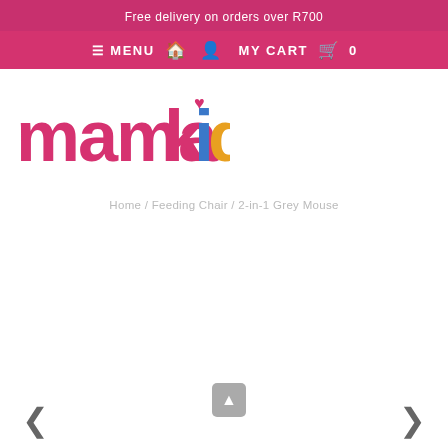Free delivery on orders over R700
≡ MENU  🏠  👤  MY CART  🛒  0
[Figure (logo): mamakids logo in colorful rounded lettering - pink letters with blue 'i' dot and yellow 'd' accent, heart symbol inside the 'a']
Home / Feeding Chair / 2-in-1 Grey Mouse